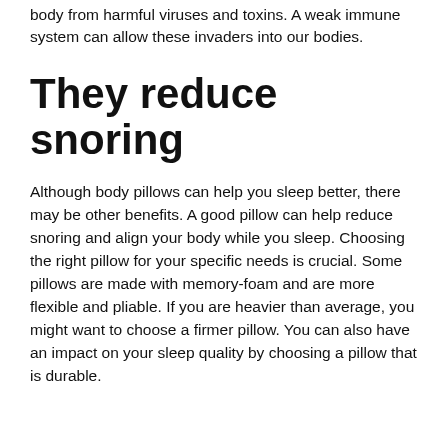body from harmful viruses and toxins. A weak immune system can allow these invaders into our bodies.
They reduce snoring
Although body pillows can help you sleep better, there may be other benefits. A good pillow can help reduce snoring and align your body while you sleep. Choosing the right pillow for your specific needs is crucial. Some pillows are made with memory-foam and are more flexible and pliable. If you are heavier than average, you might want to choose a firmer pillow. You can also have an impact on your sleep quality by choosing a pillow that is durable.